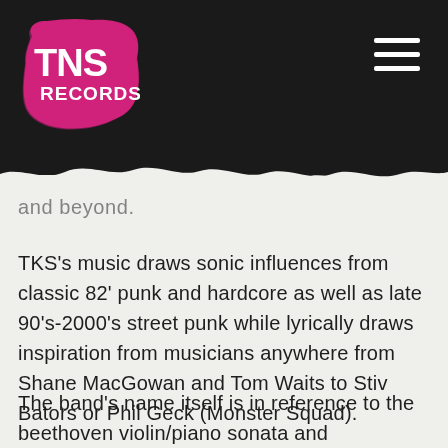[Figure (logo): TNS Records logo — pink/magenta rough painted background with bold white text 'TNS RECORDS']
and beyond.
TKS's music draws sonic influences from classic 82' punk and hardcore as well as late 90's-2000's street punk while lyrically draws inspiration from musicians anywhere from Shane MacGowan and Tom Waits to Stiv Bators or Phil Geck (Monster Squad).
The band's name itself is in reference to the beethoven violin/piano sonata and